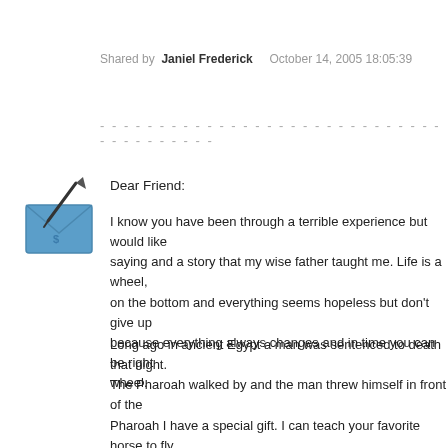Shared by  Janiel Frederick  October 14, 2005 18:05:39
- - - - - - - - - - - - - - - - - - - - - - - - - - - - - - - - - - - - - - - -
[Figure (illustration): Blue envelope icon with a pen/quill writing on it]
Dear Friend:
I know you have been through a terrible experience but would like to share a saying and a story that my wise father taught me. Life is a wheel, sometimes on the bottom and everything seems hopeless but don't give up because everything always changes and in time you can be right on top of the wheel.
Long ago in ancient Egypt a man was sentenced to death that night. The Pharoah walked by and the man threw himself in front of the Pharoah I have a special gift. I can teach your favorite horse to fly "who do you think you are? Everyone knows horses can't fly. If you can make it fly - do it now". The man said " Good Pharoah - it takes time to to work with your horse everyday for 5 years." Pharoah thought have my horse for 5 years" The man added "Good Pharoah I wil little money for my family and me to live on too" Pharoah said "G